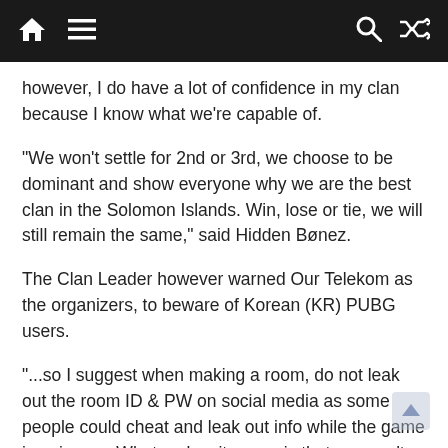Navigation bar with home, menu, search, and shuffle icons
however, I do have a lot of confidence in my clan because I know what we're capable of.
“We won’t settle for 2nd or 3rd, we choose to be dominant and show everyone why we are the best clan in the Solomon Islands. Win, lose or tie, we will still remain the same,” said Hidden Bønez.
The Clan Leader however warned Our Telekom as the organizers, to beware of Korean (KR) PUBG users.
“...so I suggest when making a room, do not leak out the room ID & PW on social media as some people could cheat and leak out info while the game is going on. What makes it worse is that you can’t kick ‘em out either for some weird reason which pretty much means you have to make a new room again.